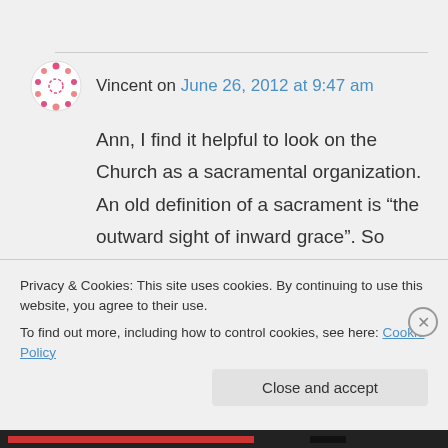Vincent on June 26, 2012 at 9:47 am
Ann, I find it helpful to look on the Church as a sacramental organization. An old definition of a sacrament is “the outward sight of inward grace”. So baptism, for instance, is not airy fairy, it is pinned to our experience through the use of
Privacy & Cookies: This site uses cookies. By continuing to use this website, you agree to their use.
To find out more, including how to control cookies, see here: Cookie Policy
Close and accept